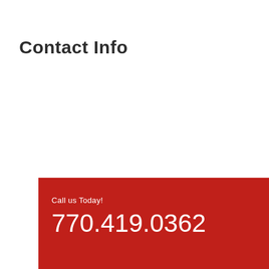Contact Info
Call us Today!
770.419.0362
Email Contact
frontdesk@kennesawvet.com